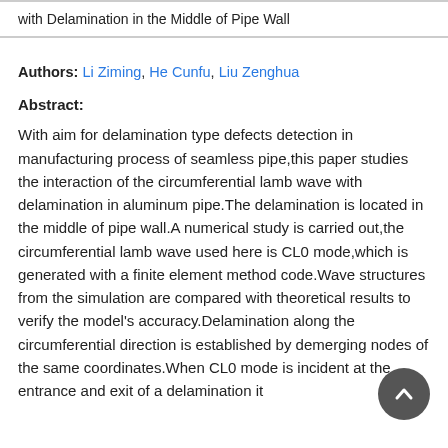with Delamination in the Middle of Pipe Wall
Authors: Li Ziming, He Cunfu, Liu Zenghua
Abstract:
With aim for delamination type defects detection in manufacturing process of seamless pipe,this paper studies the interaction of the circumferential lamb wave with delamination in aluminum pipe.The delamination is located in the middle of pipe wall.A numerical study is carried out,the circumferential lamb wave used here is CL0 mode,which is generated with a finite element method code.Wave structures from the simulation are compared with theoretical results to verify the model’s accuracy.Delamination along the circumferential direction is established by demerging nodes of the same coordinates.When CL0 mode is incident at the entrance and exit of a delamination it